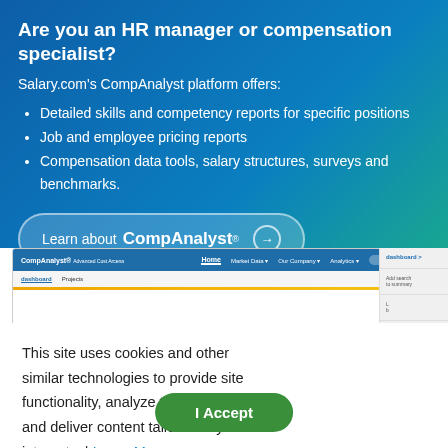Are you an HR manager or compensation specialist?
Salary.com's CompAnalyst platform offers:
Detailed skills and competency reports for specific positions
Job and employee pricing reports
Compensation data tools, salary structures, surveys and benchmarks.
[Figure (screenshot): CompAnalyst platform screenshot showing navigation bar with Dashboard and Projects tabs, with an orange bar below]
This site uses cookies and other similar technologies to provide site functionality, analyze traffic and usage, and deliver content tailored to your interests. | Learn More
I Accept